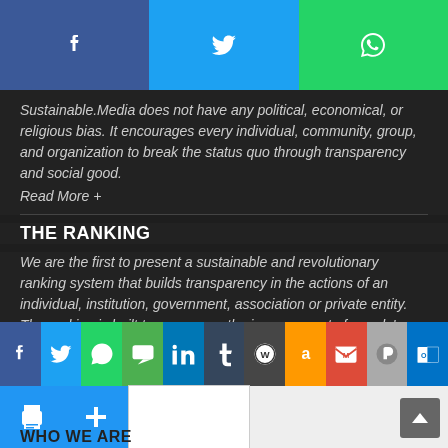[Figure (other): Top social sharing bar with Facebook (blue), Twitter (light blue), and WhatsApp (green) icons]
Sustainable.Media does not have any political, economical, or religious bias. It encourages every individual, community, group, and organization to break the status quo through transparency and social good.
Read More +
THE RANKING
We are the first to present a sustainable and revolutionary ranking system that builds transparency in the actions of an individual, institution, government, association or private entity.
The ranking is built to encourage the improvement of people's lives through their actions. The ranking is based on seven basic principles, and the score is calculated from the average ranking produced
[Figure (other): Bottom social sharing bar with multiple social media icons including Facebook, Twitter, WhatsApp, SMS, LinkedIn, Tumblr, WordPress, Amazon, Gmail, and other sharing buttons]
WHO WE ARE